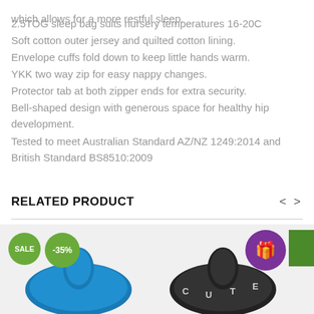which allows for a more restful sleep.
2.5TOG sleep bag suits nursery temperatures 16-20C
Soft cotton outer jersey and quilted cotton lining.
Envelope cuffs fold down to keep little hands warm.
YKK two way zip for easy nappy changes.
Protector tab at both zipper ends for extra security.
Bell-shaped design with generous space for healthy hip development.
Tested to meet Australian Standard AZ/NZ 1249:2014 and British Standard BS8510:2009
RELATED PRODUCT
[Figure (photo): Two baby pacifiers displayed side by side. Left: a blue pacifier with SALE and -35% badges. Right: a black pacifier with letter designs and a purple gift badge icon.]